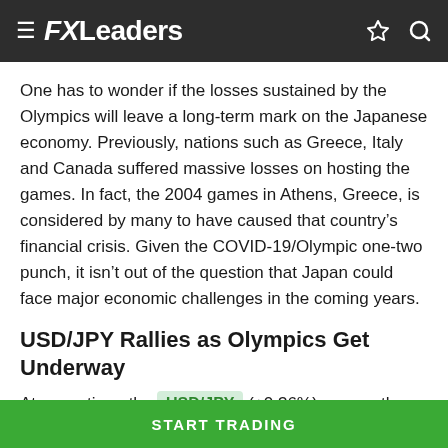FXLeaders
One has to wonder if the losses sustained by the Olympics will leave a long-term mark on the Japanese economy. Previously, nations such as Greece, Italy and Canada suffered massive losses on hosting the games. In fact, the 2004 games in Athens, Greece, is considered by many to have caused that country’s financial crisis. Given the COVID-19/Olympic one-two punch, it isn’t out of the question that Japan could face major economic challenges in the coming years.
USD/JPY Rallies as Olympics Get Underway
At press time, the USD/JPY (+0.36%) was on the bull. Forex participants are bidding the pair north, extending this week’s gains.
START TRADING